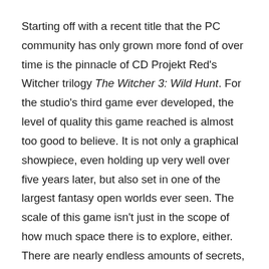Starting off with a recent title that the PC community has only grown more fond of over time is the pinnacle of CD Projekt Red's Witcher trilogy The Witcher 3: Wild Hunt. For the studio's third game ever developed, the level of quality this game reached is almost too good to believe. It is not only a graphical showpiece, even holding up very well over five years later, but also set in one of the largest fantasy open worlds ever seen. The scale of this game isn't just in the scope of how much space there is to explore, either. There are nearly endless amounts of secrets, treasures, monsters, quests, and side activities to partake in outside of your main quest.
The Witcher 3: Wild Hunt benefits from being based on the established world and lore of a novel series but also stands on its own since it has virtually all of the...